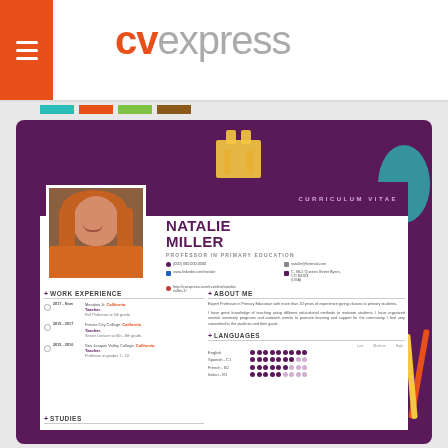CVExpress - logo and navigation header
[Figure (screenshot): CV Express resume template preview showing Natalie Miller, Professor in Primary Education, with photo, contact info, work experience, about me, and languages sections]
NATALIE MILLER
PROFESSOR IN PRIMARY EDUCATION
(000) 000.000.0000 | natalie@hotmail.com | www.linkedin.com/natalie | C. 98-5 Queens Street Byers, CO 80103 (USA) | http://cvexpress.com/cvonline/natalie-miller-1/
WORK EXPERIENCE
2017 - Now | Meadow Jr. California. Teacher. | Full Professor at 5th grade.
2015 - 2017 | Fresno City College. California. Teacher. | Senior Lecturer at 6th - 8th grade.
2015 - 2016 | San Joaquin Valley College. California. Teacher. | Professor at grades 7 - 10.
ABOUT ME
Expert Professor in Primary Education with more than 10 years of experience giving classes to primary students. I have great knowledge of teaching using different educational methods to motivate students. I have organized several university programs and outreach events to promote learning and support for the community. I feel very committed to the students and their goals.
LANGUAGES
English - Full | Spanish - C1 | French - B2 | Italian - B1
STUDIES